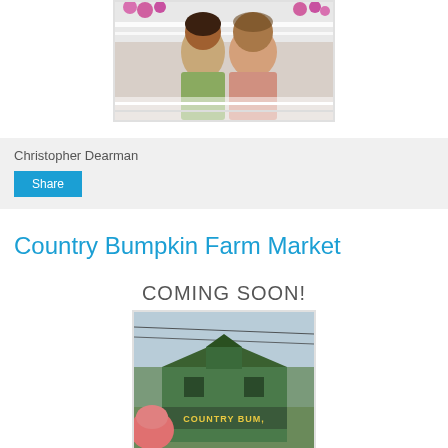[Figure (photo): Photo of a man and woman standing together outdoors on a porch with flowers and white railing in background]
Christopher Dearman
Share
Country Bumpkin Farm Market
COMING SOON!
[Figure (photo): Photo of a green farm market building with sign reading COUNTRY BUMPKIN, with power lines and sky in background]